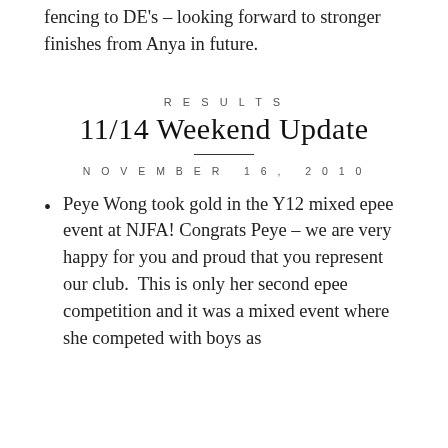fencing to DE's – looking forward to stronger finishes from Anya in future.
RESULTS
11/14 Weekend Update
NOVEMBER 16, 2010
Peye Wong took gold in the Y12 mixed epee event at NJFA! Congrats Peye – we are very happy for you and proud that you represent our club.  This is only her second epee competition and it was a mixed event where she competed with boys as